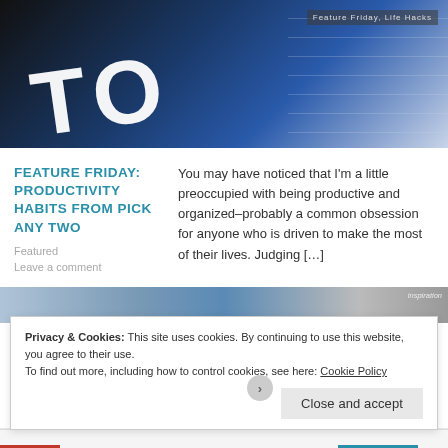[Figure (photo): Close-up photo of a blue TO-DO planner/book with large white letters, partially overlapping a calendar grid on a light background. Tag overlay reads 'Feature Friday, Life Hacks'.]
FEATURE FRIDAY: PRODUCTIVITY HABITS FROM PICK ANY TWO
You may have noticed that I'm a little preoccupied with being productive and organized–probably a common obsession for anyone who is driven to make the most of their lives. Judging […]
Featured
Leave a comment
[Figure (photo): Partial second article image strip, with an 'inspiration' tag overlay on the right.]
Privacy & Cookies: This site uses cookies. By continuing to use this website, you agree to their use.
To find out more, including how to control cookies, see here: Cookie Policy
Close and accept